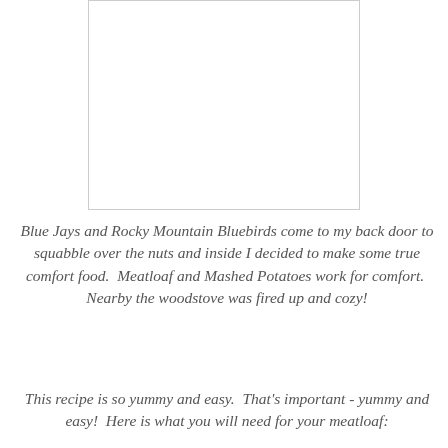[Figure (photo): A white/blank rectangular image placeholder with a light gray border.]
Blue Jays and Rocky Mountain Bluebirds come to my back door to squabble over the nuts and inside I decided to make some true comfort food.  Meatloaf and Mashed Potatoes work for comfort.  Nearby the woodstove was fired up and cozy!
This recipe is so yummy and easy.  That's important - yummy and easy!  Here is what you will need for your meatloaf: